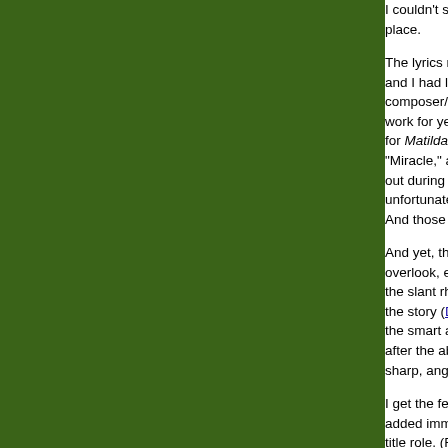I couldn't see a lot of the place.
The lyrics remain a and I had listened to composer/lyricist T work for years. He' for Matilda are ofte "Miracle," and the a out during the latte unfortunate tenden And those two exa
And yet, the show overlook, especiall the slant rhyme an the story (Dennis K the smart and sens after the abominati sharp, angular cho
I get the feeling tha added immeasurab title role. (Raising t la Billy Elliot. Saint